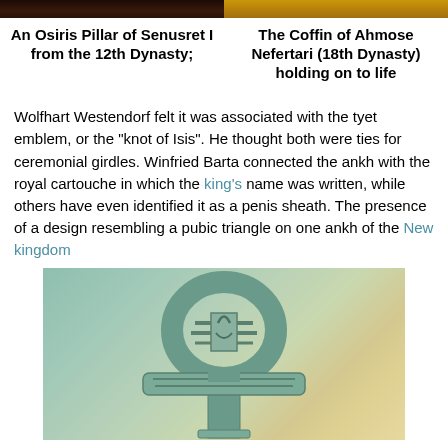[Figure (photo): Top portion of an Osiris Pillar sculpture (dark stone, face visible at top)]
[Figure (photo): Top portion of the Coffin of Ahmose Nefertari (golden/yellow colored artifact)]
An Osiris Pillar of Senusret I from the 12th Dynasty;
The Coffin of Ahmose Nefertari (18th Dynasty) holding on to life
Wolfhart Westendorf felt it was associated with the tyet emblem, or the "knot of Isis". He thought both were ties for ceremonial girdles. Winfried Barta connected the ankh with the royal cartouche in which the king's name was written, while others have even identified it as a penis sheath. The presence of a design resembling a pubic triangle on one ankh of the New kingdom
[Figure (photo): An ankh artifact (New Kingdom) showing a design resembling a pubic triangle, teal/green colored metal ankh with detailed horizontal bands in the loop area]